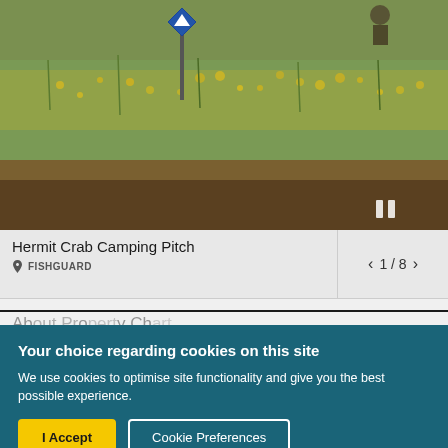[Figure (photo): Outdoor camping area with green grass, yellow wildflowers, and a blue directional sign marker in the background. Natural hillside landscape.]
Hermit Crab Camping Pitch
FISHGUARD
1 / 8
Your choice regarding cookies on this site
We use cookies to optimise site functionality and give you the best possible experience.
I Accept
Cookie Preferences